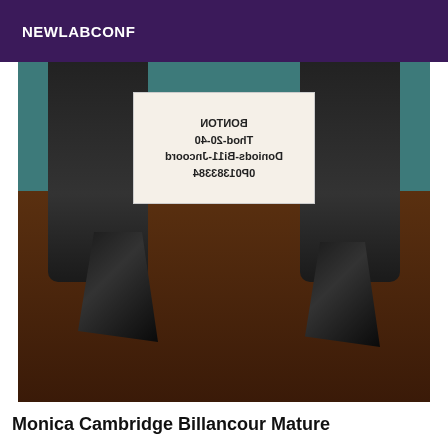NEWLABCONF
[Figure (photo): A photo showing legs in black stockings and high heel shoes on a wooden surface, with a handwritten sign visible in the background]
Monica Cambridge Billancour Mature